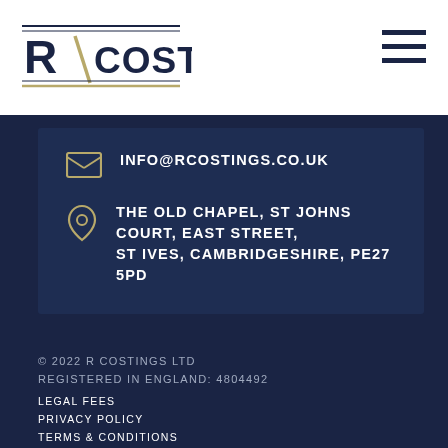[Figure (logo): R Costings logo with stylized R and diagonal line, company name in dark navy text]
INFO@RCOSTINGS.CO.UK
THE OLD CHAPEL, ST JOHNS COURT, EAST STREET, ST IVES, CAMBRIDGESHIRE, PE27 5PD
© 2022 R COSTINGS LTD
REGISTERED IN ENGLAND: 4804492
LEGAL FEES
PRIVACY POLICY
TERMS & CONDITIONS
COMPLAINTS PROCEDURE
SITE MAP